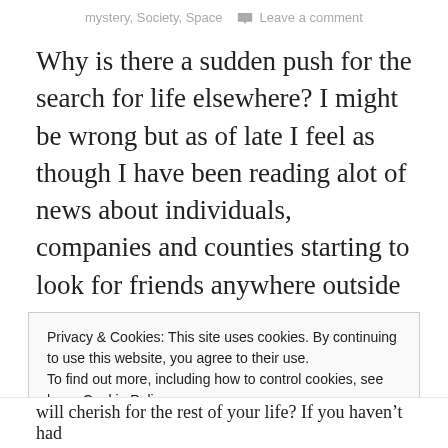mystery, Society, Space   Leave a comment
Why is there a sudden push for the search for life elsewhere? I might be wrong but as of late I feel as though I have been reading alot of news about individuals, companies and counties starting to look for friends anywhere outside the Earth. ‘Friends’, what a polite way to call them. Isn’t it? I wish we treated them that way too. I am frankly more afraid of what we would do to them than what they would do to us. I believe that the universe speaks to us in mysterious
Privacy & Cookies: This site uses cookies. By continuing to use this website, you agree to their use.
To find out more, including how to control cookies, see here: Cookie Policy
will cherish for the rest of your life? If you haven’t had